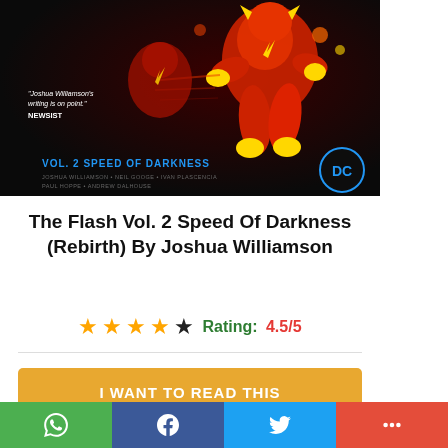[Figure (illustration): Comic book cover of The Flash Vol. 2 Speed of Darkness (Rebirth) showing Flash figures in red and yellow on dark background, with DC logo in bottom right and quote text on left side]
The Flash Vol. 2 Speed Of Darkness (Rebirth) By Joshua Williamson
Rating: 4.5/5
I WANT TO READ THIS
Social share bar with WhatsApp, Facebook, Twitter, and More buttons